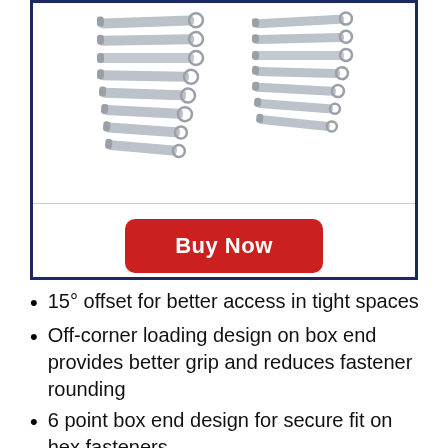[Figure (photo): Two groups of combination wrenches arranged in fan/stacked layout inside a dark blue bordered box]
Buy Now
15° offset for better access in tight spaces
Off-corner loading design on box end provides better grip and reduces fastener rounding
6 point box end design for secure fit on hex fasteners